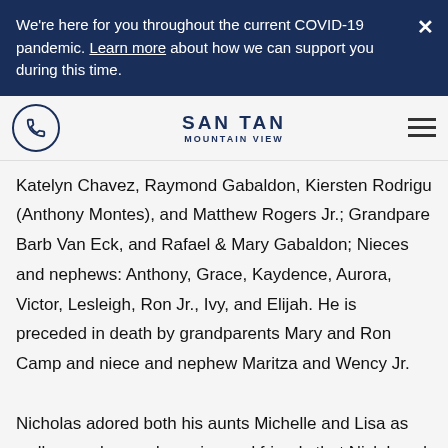We're here for you throughout the current COVID-19 pandemic. Learn more about how we can support you during this time.
Katelyn Chavez, Raymond Gabaldon, Kiersten Rodrigu (Anthony Montes), and Matthew Rogers Jr.; Grandpare Barb Van Eck, and Rafael & Mary Gabaldon; Nieces and nephews: Anthony, Grace, Kaydence, Aurora, Victor, Lesleigh, Ron Jr., Ivy, and Elijah. He is preceded in death by grandparents Mary and Ron Camp and niece and nephew Maritza and Wency Jr.
Nicholas adored both his aunts Michelle and Lisa as well as uncles, and cousins and friends that Nick loved dearly and even considered his brothers and sisters. There will be no other to compare to Nicholas. He was a one-of-a-kind son, brother,